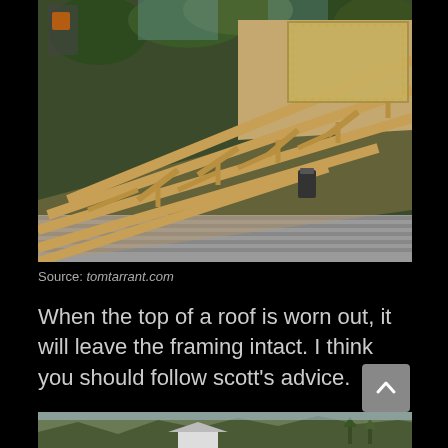[Figure (photo): Construction photo showing exposed wooden roof framing/trusses on a building under construction, with workers visible at the top. Green trees visible in background. Lower portion shows existing shingle roofing.]
Source: tomtarrant.com
When the top of a roof is worn out, it will leave the framing intact. I think you should follow scott's advice.
[Figure (photo): Partial photo at bottom of page showing a building exterior with mountains/hills and trees in background.]